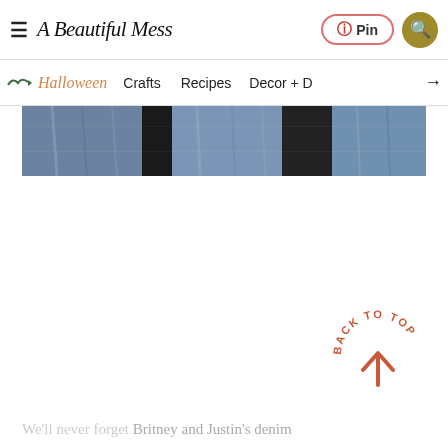A Beautiful Mess — Header with hamburger menu, Pin button, search button
Halloween | Crafts | Recipes | Decor + D →
[Figure (photo): Cropped photo of denim fabric/jeans in blue and dark tones]
[Figure (infographic): Back to top button with circular text 'BACK TO TOP' and upward arrow in coral/red color]
We'll never forget Britney and Justin's denim